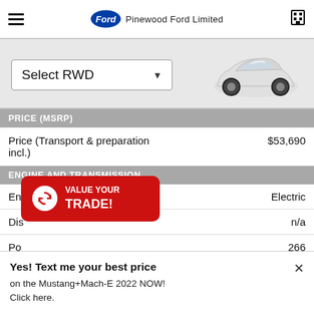Pinewood Ford Limited
[Figure (screenshot): Select RWD dropdown with white Mustang Mach-E car image to the right]
PRICE (MSRP)
Price (Transport & preparation incl.) $53,690
ENGINE AND TRANSMISSION
Engine  Electric
Displacement  n/a
Power  266
Torque  317
[Figure (infographic): Red VALUE YOUR TRADE! overlay button with circular arrows icon]
Yes! Text me your best price on the Mustang+Mach-E 2022 NOW! Click here.